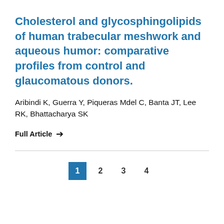Cholesterol and glycosphingolipids of human trabecular meshwork and aqueous humor: comparative profiles from control and glaucomatous donors.
Aribindi K, Guerra Y, Piqueras Mdel C, Banta JT, Lee RK, Bhattacharya SK
Full Article →
1 2 3 4